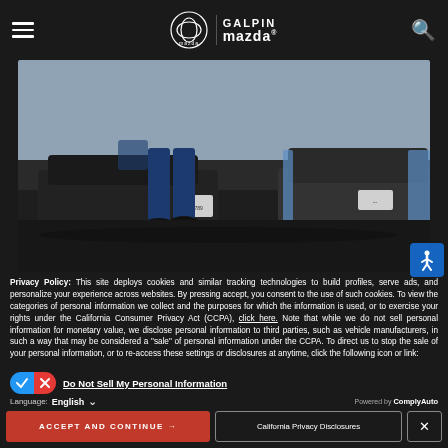Galpin Mazda navigation bar with hamburger menu, Mazda and Galpin Mazda logos, and search icon
[Figure (photo): Car dealership lot photo showing legs of a person in a suit walking past parked Mazda vehicles, shot from low angle showing car bodies and license plates]
Privacy Policy: This site deploys cookies and similar tracking technologies to build profiles, serve ads, and personalize your experience across websites. By pressing accept, you consent to the use of such cookies. To view the categories of personal information we collect and the purposes for which the information is used, or to exercise your rights under the California Consumer Privacy Act (CCPA), click here. Note that while we do not sell personal information for monetary value, we disclose personal information to third parties, such as vehicle manufacturers, in such a way that may be considered a "sale" of personal information under the CCPA. To direct us to stop the sale of your personal information, or to re-access these settings or disclosures at anytime, click the following icon or link:
Do Not Sell My Personal Information
Language: English
Powered by ComplyAuto
ACCEPT AND CONTINUE →
California Privacy Disclosures
×